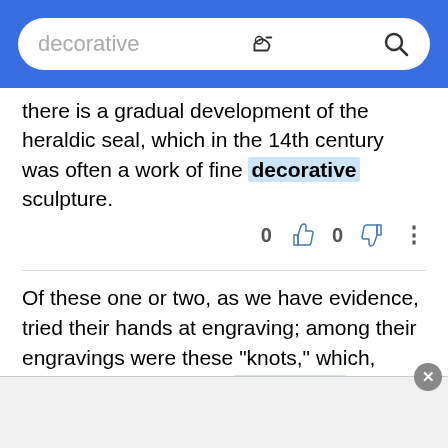[Figure (screenshot): Search bar with rounded rectangle on blue background, showing placeholder text 'decorative' and a search magnifying glass icon]
there is a gradual development of the heraldic seal, which in the 14th century was often a work of fine decorative sculpture.
0 [thumbs up icon]   0 [thumbs down icon]   ⋮
Of these one or two, as we have evidence, tried their hands at engraving; among their engravings were these "knots," which, being things of use for decorative craftsmen to copy, were inscribed for identification, and perhaps for protection, as coming from the Achademia Leonardi Vinci; a trifling matter altogether, and quite unfit to sustain the elaborate structure of conjecture which has
[Figure (other): Gray advertisement area at bottom with an X close button]